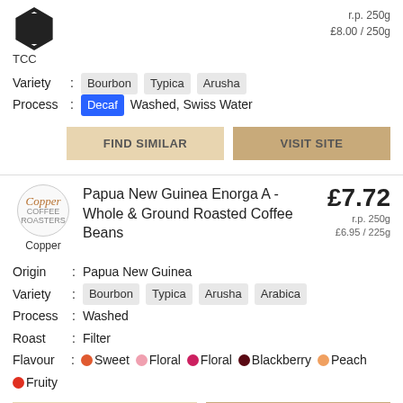[Figure (logo): TCC hexagon logo in black with inner hexagon outline]
TCC
r.p. 250g
£8.00 / 250g
Variety  :  Bourbon   Typica   Arusha
Process  :  Decaf   Washed, Swiss Water
FIND SIMILAR
VISIT SITE
[Figure (logo): Copper coffee roasters circular logo with italic Copper text]
Copper
Papua New Guinea Enorga A - Whole & Ground Roasted Coffee Beans
£7.72
r.p. 250g
£6.95 / 225g
Origin  :  Papua New Guinea
Variety  :  Bourbon   Typica   Arusha   Arabica
Process  :  Washed
Roast  :  Filter
Flavour  :  Sweet   Floral   Floral   Blackberry   Peach
Fruity